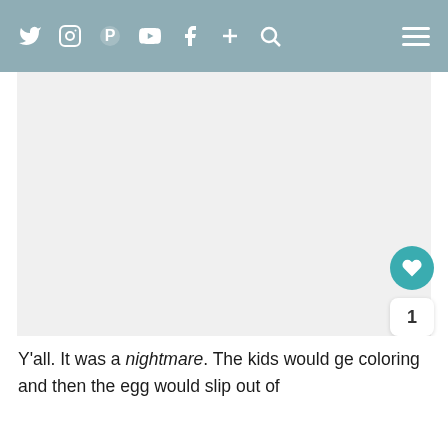Social media navigation bar with icons: Twitter, Instagram, Pinterest, YouTube, Facebook, Plus, Search, and hamburger menu
[Figure (other): Large white/light gray blank image area taking up the main content space of the page]
Y'all. It was a nightmare. The kids would ge coloring and then the egg would slip out of